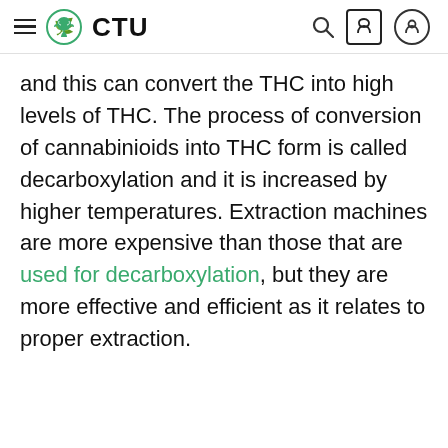CTU
and this can convert the THC into high levels of THC. The process of conversion of cannabinioids into THC form is called decarboxylation and it is increased by higher temperatures. Extraction machines are more expensive than those that are used for decarboxylation, but they are more effective and efficient as it relates to proper extraction.